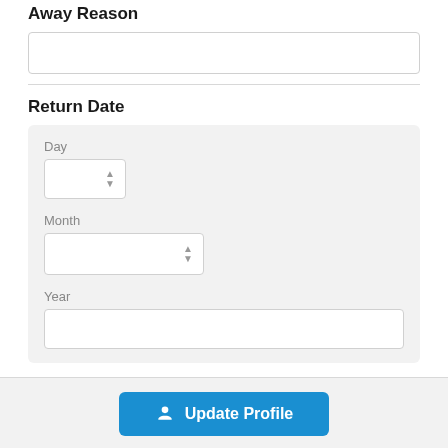Away Reason
[Figure (screenshot): Empty text input field for Away Reason]
Return Date
[Figure (screenshot): Return Date form with Day spinner, Month spinner, and Year text input fields inside a gray box]
[Figure (screenshot): Update Profile button with person icon]